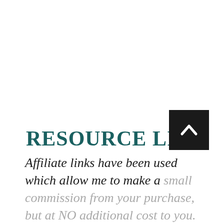RESOURCE LIST:
Affiliate links have been used which allow me to make a small commission from your purchase, but at NO additional cost to you.